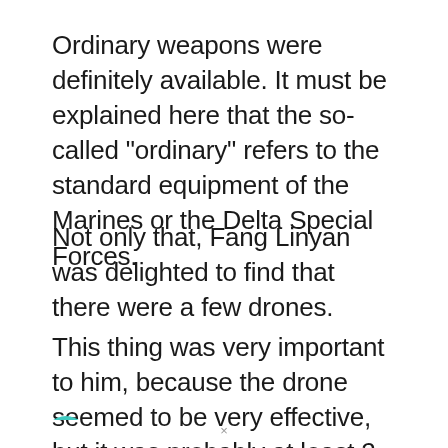Ordinary weapons were definitely available. It must be explained here that the so-called “ordinary” refers to the standard equipment of the Marines or the Delta Special Forces.
Not only that, Fang Linyan was delighted to find that there were a few drones.
This thing was very important to him, because the drone seemed to be very effective, but it was probably at least 2 generations behind Fang Linyan’s LV3